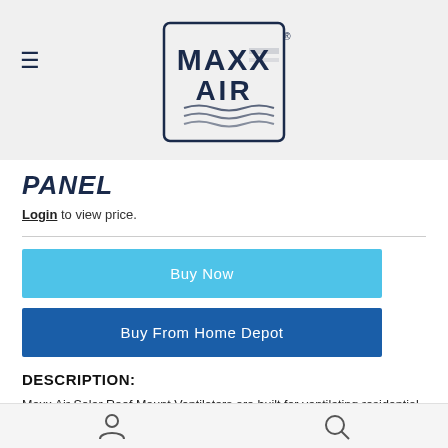[Figure (logo): Maxx Air logo — dark navy text on light grey background, with stylized waves]
PANEL
Login to view price.
Buy Now
Buy From Home Depot
DESCRIPTION:
Maxx Air Solar Roof Mount Ventilators are built for ventilating residential attic spaces up to 1,500 sq. ft. This solar attic fan features a steel dome and pre-mounted solar panel with tempered cell casings to create a unit that is resistant